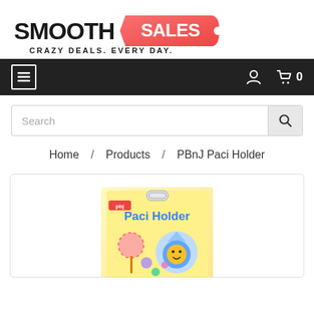[Figure (logo): Smooth Sales logo with 'SMOOTH' in black bold text and 'SALES' in white text on a red price-tag shape with a dot. Subtitle reads 'CRAZY DEALS. EVERY DAY.']
Navigation bar with hamburger menu icon on left, user icon and cart (0) on right
Search
Home / Products / PBnJ Paci Holder
[Figure (photo): PBnJ Paci Holder product packaging on yellow background, showing colorful paci holder with Baby Shark themed design. Package has hanging tab and blue 'Paci Holder' text.]